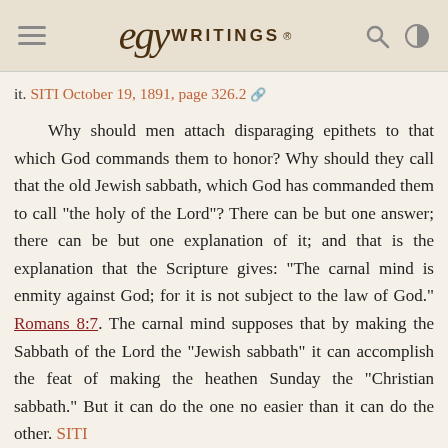EGW Writings
it. SITI October 19, 1891, page 326.2
Why should men attach disparaging epithets to that which God commands them to honor? Why should they call that the old Jewish sabbath, which God has commanded them to call “the holy of the Lord”? There can be but one answer; there can be but one explanation of it; and that is the explanation that the Scripture gives: “The carnal mind is enmity against God; for it is not subject to the law of God.” Romans 8:7. The carnal mind supposes that by making the Sabbath of the Lord the “Jewish sabbath” it can accomplish the feat of making the heathen Sunday the “Christian sabbath.” But it can do the one no easier than it can do the other. SITI